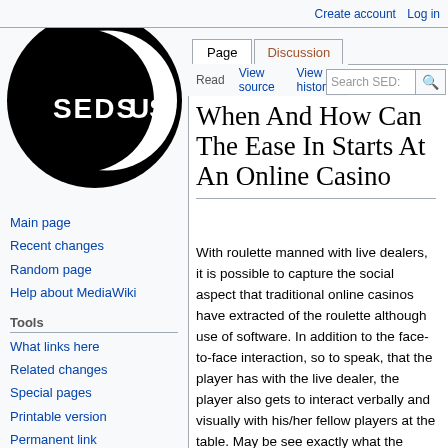Create account   Log in
[Figure (logo): SEDSOUS wiki logo - black circle with white crescent and white text SEDSOUS]
Main page
Recent changes
Random page
Help about MediaWiki
Tools
What links here
Related changes
Special pages
Printable version
Permanent link
Page information
When And How Can The Ease In Starts At An Online Casino
With roulette manned with live dealers, it is possible to capture the social aspect that traditional online casinos have extracted of the roulette although use of software. In addition to the face-to-face interaction, so to speak, that the player has with the live dealer, the player also gets to interact verbally and visually with his/her fellow players at the table. May be see exactly what the others